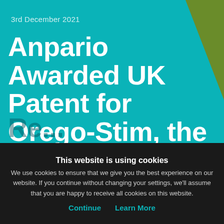3rd December 2021
Anpario Awarded UK Patent for Orego-Stim, the Composition of Which Reduces Antimicrobial Re...
This website is using cookies
We use cookies to ensure that we give you the best experience on our website. If you continue without changing your settings, we'll assume that you are happy to receive all cookies on this website.
Continue
Learn More